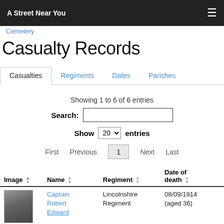A Street Near You
Cemetery
Casualty Records
Casualties  Regiments  Dates  Parishes
Showing 1 to 6 of 6 entries
Search:
Show 20 entries
First  Previous  1  Next  Last
| Image | Name | Regiment | Date of death |
| --- | --- | --- | --- |
| [photo] | Captain Robert Edward | Lincolnshire Regiment | 08/09/1914 (aged 36) |